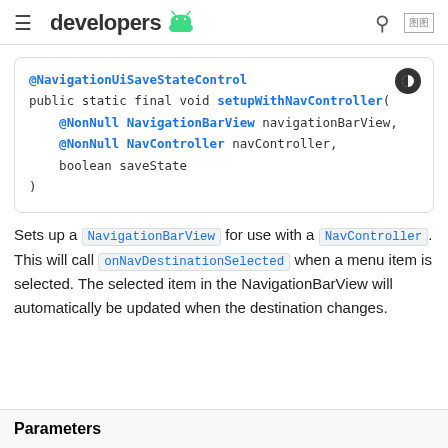developers
[Figure (screenshot): Code block showing @NavigationUiSaveStateControl annotation and public static final void setupWithNavController method signature with parameters @NonNull NavigationBarView navigationBarView, @NonNull NavController navController, boolean saveState]
Sets up a NavigationBarView for use with a NavController. This will call onNavDestinationSelected when a menu item is selected. The selected item in the NavigationBarView will automatically be updated when the destination changes.
Parameters